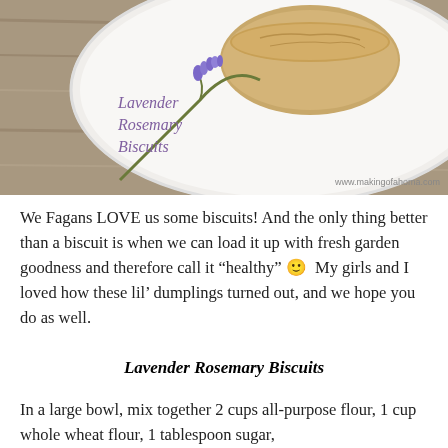[Figure (photo): A white bowl containing stacked lavender rosemary biscuits with a sprig of fresh lavender on the side, on a wooden surface. Text overlay reads 'Lavender Rosemary Biscuits' in purple script. Watermark: www.makingofahoma.com]
We Fagans LOVE us some biscuits! And the only thing better than a biscuit is when we can load it up with fresh garden goodness and therefore call it “healthy” 🙂  My girls and I loved how these lil’ dumplings turned out, and we hope you do as well.
Lavender Rosemary Biscuits
In a large bowl, mix together 2 cups all-purpose flour, 1 cup whole wheat flour, 1 tablespoon sugar,